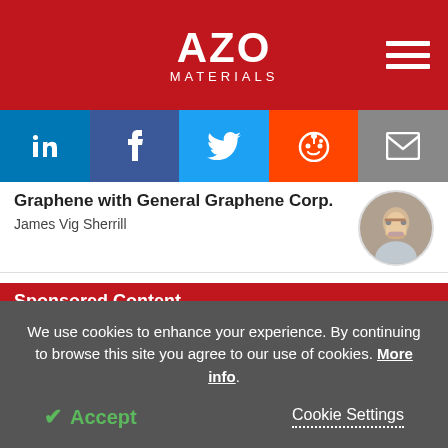[Figure (logo): AZO Materials logo on red background with hamburger menu icon]
[Figure (infographic): Social share buttons bar: LinkedIn (blue), Facebook (dark blue), Twitter (light blue), Reddit (orange), Email (grey)]
Graphene with General Graphene Corp.
James Vig Sherrill
Sponsored Content
Measuring Immunoglobulin with Deep UV Raman Spectrometer
We use cookies to enhance your experience. By continuing to browse this site you agree to our use of cookies. More info.
✔ Accept
Cookie Settings